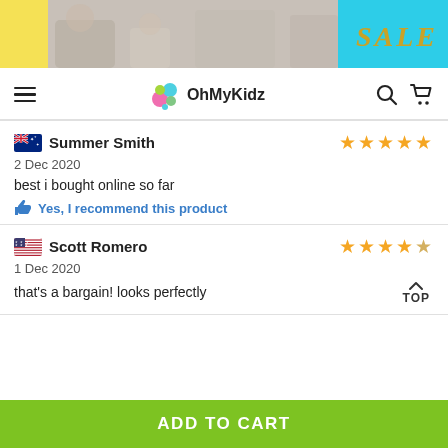[Figure (photo): Banner image of children and mother playing, with SALE text overlay on cyan/teal background]
OhMyKidz navigation bar with hamburger menu, logo, search and cart icons
Summer Smith — 2 Dec 2020 — best i bought online so far — Yes, I recommend this product (5 stars)
Scott Romero — 1 Dec 2020 — that's a bargain! looks perfectly (4 stars)
ADD TO CART